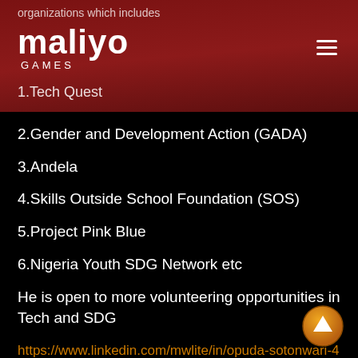organizations which includes
[Figure (logo): Maliyo Games logo with white text on dark red background]
1.Tech Quest
2.Gender and Development Action (GADA)
3.Andela
4.Skills Outside School Foundation (SOS)
5.Project Pink Blue
6.Nigeria Youth SDG Network etc
He is open to more volunteering opportunities in Tech and SDG
https://www.linkedin.com/mwlite/in/opuda-sotonwari-47ab053a
Tolulope Longe
Graduated B.Sc Biochemistry from Obafemi Awolowo